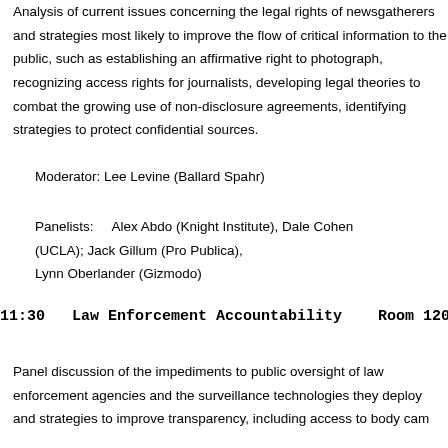Analysis of current issues concerning the legal rights of newsgatherers and strategies most likely to improve the flow of critical information to the public, such as establishing an affirmative right to photograph, recognizing access rights for journalists, developing legal theories to combat the growing use of non-disclosure agreements, identifying strategies to protect confidential sources.
Moderator: Lee Levine (Ballard Spahr)
Panelists:   Alex Abdo (Knight Institute), Dale Cohen (UCLA); Jack Gillum (Pro Publica), Lynn Oberlander (Gizmodo)
11:30   Law Enforcement Accountability    Room 120
Panel discussion of the impediments to public oversight of law enforcement agencies and the surveillance technologies they deploy and strategies to improve transparency, including access to body cam